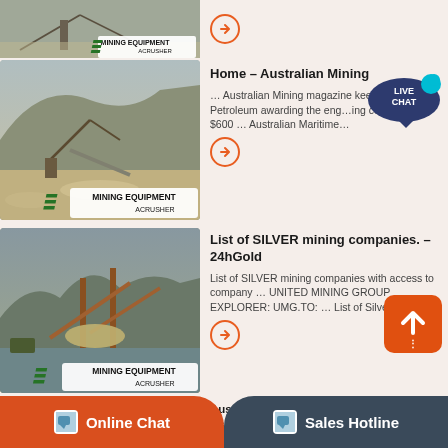[Figure (photo): Mining equipment site photo (partial, top row) with Mining Equipment Acrusher badge]
[Figure (photo): Australian mining open-cut quarry/excavation with conveyor structures, Mining Equipment Acrusher badge]
Home – Australian Mining
… Australian Mining magazine keeps Woodside Petroleum awarding the engineering company a $600 … Australian Maritime…
[Figure (photo): Silver mining site with large conveyors and flooded foreground, Mining Equipment Acrusher badge]
List of SILVER mining companies. – 24hGold
List of SILVER mining companies with access to company … UNITED MINING GROUP EXPLORER: UMG.TO: … List of Silver
[Figure (photo): Australasian Industrial Minerals mining site photo (partial)]
Australasian Industrial Minerals – About Us
Online Chat
Sales Hotline